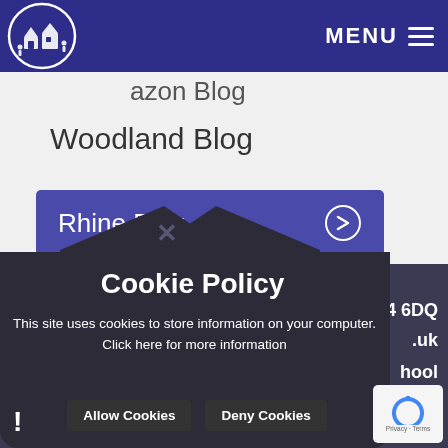[Figure (screenshot): School website screenshot showing navigation bar with logo and MENU button, Woodland Blog heading, Rhine Blog button, and a cookie policy popup overlay with Allow Cookies and Deny Cookies buttons]
MENU
azon Blog
Woodland Blog
Rhine Blog →
Cookie Policy
This site uses cookies to store information on your computer. Click here for more information
Allow Cookies
Deny Cookies
SN14 6DQ
.uk
hool